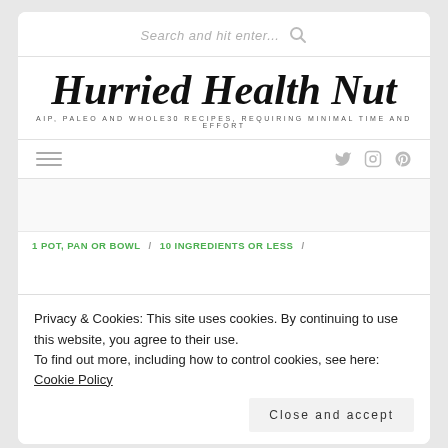Search and hit enter...
Hurried Health Nut
AIP, PALEO AND WHOLE30 RECIPES, REQUIRING MINIMAL TIME AND EFFORT
[Figure (other): Navigation bar with hamburger menu icon on left and social media icons (Twitter, Instagram, Pinterest) on right]
[Figure (other): Blank banner/image placeholder area]
1 POT, PAN OR BOWL / 10 INGREDIENTS OR LESS /
Privacy & Cookies: This site uses cookies. By continuing to use this website, you agree to their use.
To find out more, including how to control cookies, see here: Cookie Policy
Close and accept
Vegan)